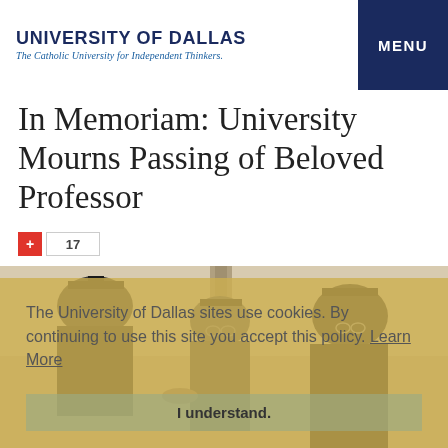UNIVERSITY OF DALLAS — The Catholic University for Independent Thinkers. | MENU
In Memoriam: University Mourns Passing of Beloved Professor
+ 17
[Figure (photo): Black and white photograph of three people in academic graduation regalia (caps and gowns) shaking hands outdoors, with a tower visible in the background. Overlaid with a cookie consent banner.]
The University of Dallas sites use cookies. By continuing to use this site you accept this policy. Learn More
I understand.